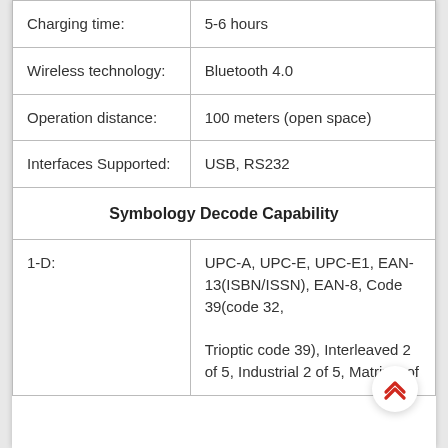| Charging time: | 5-6 hours |
| Wireless technology: | Bluetooth 4.0 |
| Operation distance: | 100 meters (open space) |
| Interfaces Supported: | USB, RS232 |
| Symbology Decode Capability |  |
| 1-D: | UPC-A, UPC-E, UPC-E1, EAN-13(ISBN/ISSN), EAN-8, Code 39(code 32, Trioptic code 39), Interleaved 2 of 5, Industrial 2 of 5, Matrix 2 of |